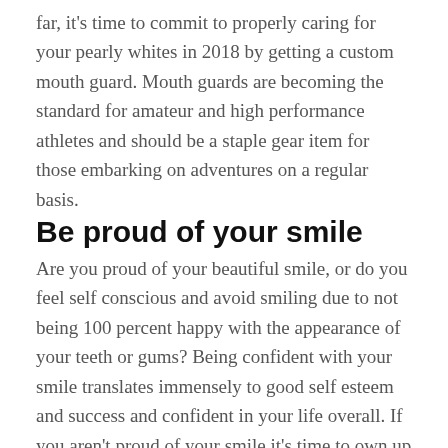far, it's time to commit to properly caring for your pearly whites in 2018 by getting a custom mouth guard. Mouth guards are becoming the standard for amateur and high performance athletes and should be a staple gear item for those embarking on adventures on a regular basis.
Be proud of your smile
Are you proud of your beautiful smile, or do you feel self conscious and avoid smiling due to not being 100 percent happy with the appearance of your teeth or gums? Being confident with your smile translates immensely to good self esteem and success and confident in your life overall. If you aren't proud of your smile it's time to own up to it, and commit to creating a smile that reflects